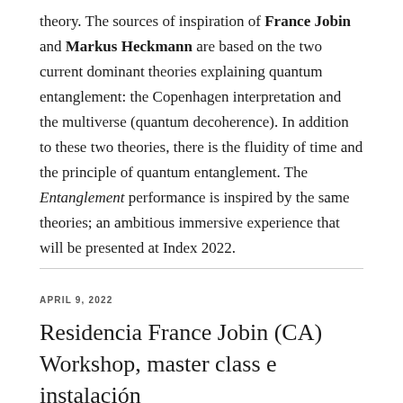theory. The sources of inspiration of France Jobin and Markus Heckmann are based on the two current dominant theories explaining quantum entanglement: the Copenhagen interpretation and the multiverse (quantum decoherence). In addition to these two theories, there is the fluidity of time and the principle of quantum entanglement. The Entanglement performance is inspired by the same theories; an ambitious immersive experience that will be presented at Index 2022.
APRIL 9, 2022
Residencia France Jobin (CA) Workshop, master class e instalación sonora